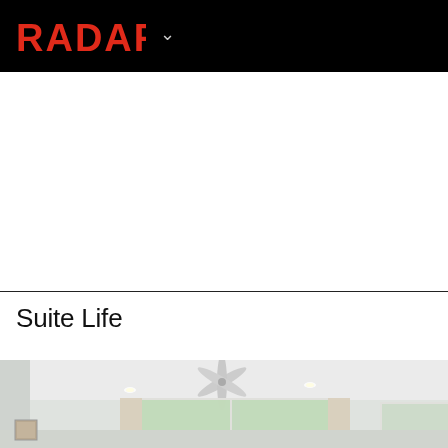RADAR
Suite Life
[Figure (photo): Interior room photo showing white ceiling with ceiling fan, recessed lighting, large windows with curtains, and light-colored walls.]